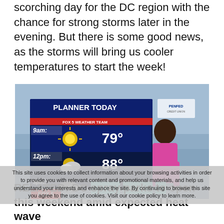scorching day for the DC region with the chance for strong storms later in the evening. But there is some good news, as the storms will bring us cooler temperatures to start the week!
[Figure (screenshot): Fox 5 weather broadcast screenshot showing 'PLANNER TODAY' with Fox 5 Weather Team and PenFed Credit Union branding. A female meteorologist in a pink dress stands next to a weather board showing: 9am: 79°, 12pm: 88°, 5pm: 90° THUNDER. Cookie consent notice overlays the lower portion of the image.]
RELATED: DC spray parks to open this weekend amid expected heat wave